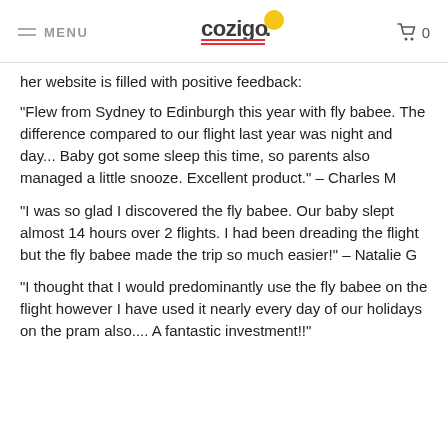MENU | cozigo | 0
her website is filled with positive feedback:
“Flew from Sydney to Edinburgh this year with fly babee. The difference compared to our flight last year was night and day... Baby got some sleep this time, so parents also managed a little snooze. Excellent product.” – Charles M
“I was so glad I discovered the fly babee. Our baby slept almost 14 hours over 2 flights. I had been dreading the flight but the fly babee made the trip so much easier!” – Natalie G
“I thought that I would predominantly use the fly babee on the flight however I have used it nearly every day of our holidays on the pram also.... A fantastic investment!!”